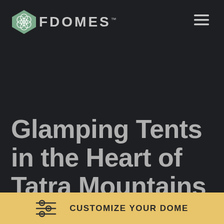FDOMES™
Glamping Tents in the Heart of Tatra Mountains
CUSTOMIZE YOUR DOME